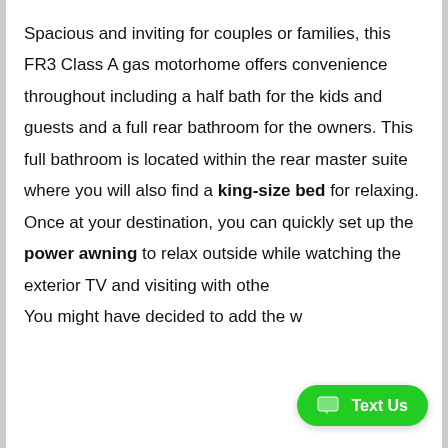Spacious and inviting for couples or families, this FR3 Class A gas motorhome offers convenience throughout including a half bath for the kids and guests and a full rear bathroom for the owners. This full bathroom is located within the rear master suite where you will also find a king-size bed for relaxing. Once at your destination, you can quickly set up the power awning to relax outside while watching the exterior TV and visiting with othe... You might have decided to add the w...